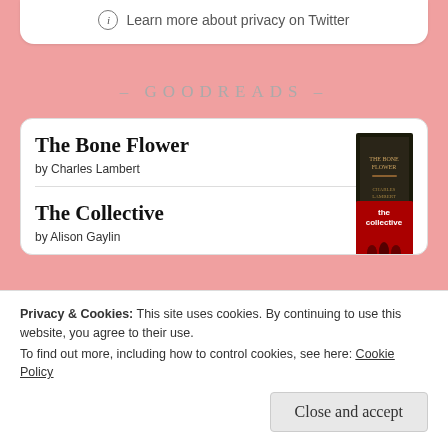ⓘ Learn more about privacy on Twitter
- GOODREADS -
The Bone Flower
by Charles Lambert
The Collective
by Alison Gaylin
Privacy & Cookies: This site uses cookies. By continuing to use this website, you agree to their use.
To find out more, including how to control cookies, see here: Cookie Policy
Close and accept